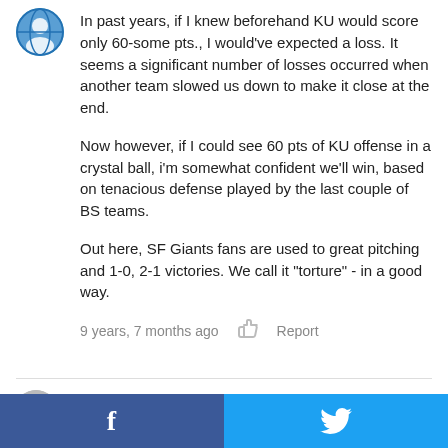In past years, if I knew beforehand KU would score only 60-some pts., I would've expected a loss. It seems a significant number of losses occurred when another team slowed us down to make it close at the end.

Now however, if I could see 60 pts of KU offense in a crystal ball, i'm somewhat confident we'll win, based on tenacious defense played by the last couple of BS teams.

Out here, SF Giants fans are used to great pitching and 1-0, 2-1 victories. We call it "torture" - in a good way.
9 years, 7 months ago   Report
Curtis Stutz